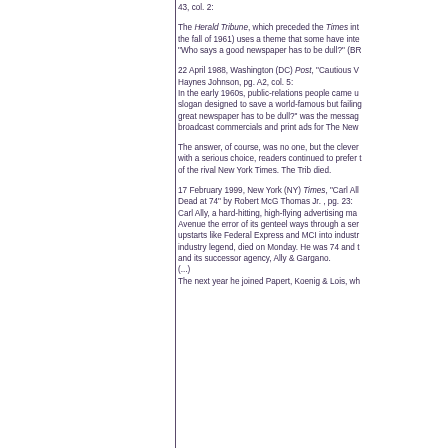43, col. 2:
The Herald Tribune, which preceded the Times int the fall of 1961) uses a theme that some have inte "Who says a good newspaper has to be dull?" (BR
22 April 1988, Washington (DC) Post, "Cautious V Haynes Johnson, pg. A2, col. 5: In the early 1960s, public-relations people came u slogan designed to save a world-famous but failing great newspaper has to be dull?" was the messag broadcast commercials and print ads for The New
The answer, of course, was no one, but the clever with a serious choice, readers continued to prefer t of the rival New York Times. The Trib died.
17 February 1999, New York (NY) Times, "Carl All Dead at 74" by Robert McG Thomas Jr. , pg. 23: Carl Ally, a hard-hitting, high-flying advertising ma Avenue the error of its genteel ways through a ser upstarts like Federal Express and MCI into industr industry legend, died on Monday. He was 74 and t and its successor agency, Ally & Gargano. (...) The next year he joined Papert, Koenig & Lois, wh